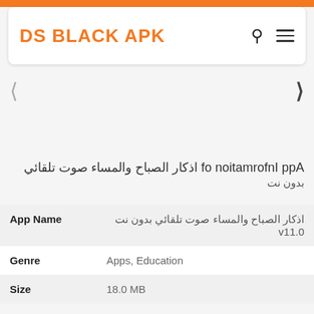DS BLACK APK
App Information of اذكار الصباح والمساء صوت تلقائي بدون نت
| Field | Value |
| --- | --- |
| App Name | اذكار الصباح والمساء صوت تلقائي بدون نت v11.0 |
| Genre | Apps, Education |
| Size | 18.0 MB |